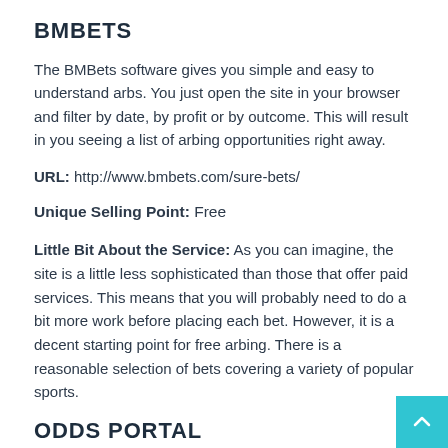BMBETS
The BMBets software gives you simple and easy to understand arbs. You just open the site in your browser and filter by date, by profit or by outcome. This will result in you seeing a list of arbing opportunities right away.
URL: http://www.bmbets.com/sure-bets/
Unique Selling Point: Free
Little Bit About the Service: As you can imagine, the site is a little less sophisticated than those that offer paid services. This means that you will probably need to do a bit more work before placing each bet. However, it is a decent starting point for free arbing. There is a reasonable selection of bets covering a variety of popular sports.
ODDS PORTAL